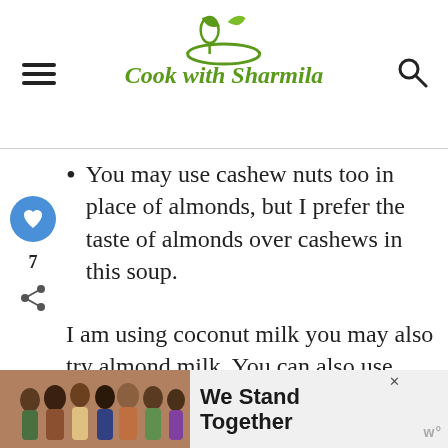Cook with Sharmila
You may use cashew nuts too in place of almonds, but I prefer the taste of almonds over cashews in this soup.
I am using coconut milk you may also try almond milk. You can also use dairy for the nonvegan version of the soup.
You can also squeeze in some lemon
[Figure (other): Ad banner: group of people with arms around each other, text 'We Stand Together']